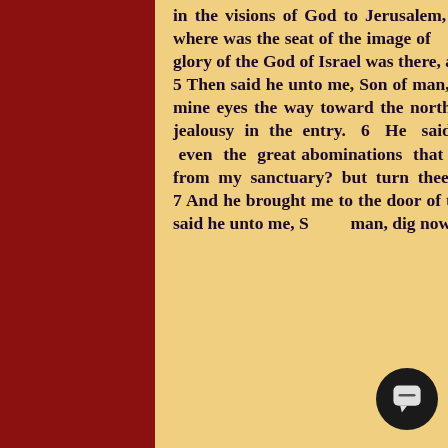in the visions of God to Jerusalem, to the door of the inner gate that looketh toward the north; where was the seat of the image of jealousy, which provoketh to jealousy. 4 And, behold, the glory of the God of Israel was there, according to the vision that I saw in the plain. 5 Then said he unto me, Son of man, lift up thine eyes now the way toward the north. So I lifted up mine eyes the way toward the north, and behold northward at the gate of the altar this image of jealousy in the entry. 6 He said furthermore unto me, Son of man, seest thou what they do? even the great abominations that the house of Israel committeth here, that I should go far off from my sanctuary? but turn thee yet again, and thou shalt see greater abominations. 7 And he brought me to the door of the court; and when I looked, behold a hole in the wall. 8 Then said he unto me, Son of man, dig now in the wall: and when I had